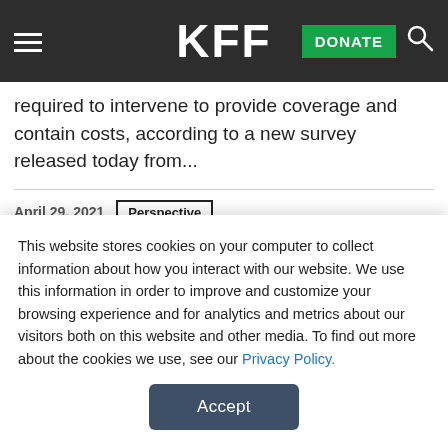KFF | DONATE
required to intervene to provide coverage and contain costs, according to a new survey released today from...
April 29, 2021  Perspective
Corporate Leaders Are Getting Bullish On Government Action On Health Care Costs
This website stores cookies on your computer to collect information about how you interact with our website. We use this information in order to improve and customize your browsing experience and for analytics and metrics about our visitors both on this website and other media. To find out more about the cookies we use, see our Privacy Policy.
Accept